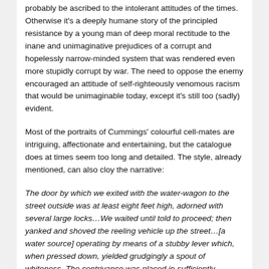probably be ascribed to the intolerant attitudes of the times. Otherwise it's a deeply humane story of the principled resistance by a young man of deep moral rectitude to the inane and unimaginative prejudices of a corrupt and hopelessly narrow-minded system that was rendered even more stupidly corrupt by war. The need to oppose the enemy encouraged an attitude of self-righteously venomous racism that would be unimaginable today, except it's still too (sadly) evident.
Most of the portraits of Cummings' colourful cell-mates are intriguing, affectionate and entertaining, but the catalogue does at times seem too long and detailed. The style, already mentioned, can also cloy the narrative:
The door by which we exited with the water-wagon to the street outside was at least eight feet high, adorned with several large locks…We waited until told to proceed; then yanked and shoved the reeling vehicle up the street…[a water source] operating by means of a stubby lever which, when pressed down, yielded grudgingly a spout of whiteness. The contrivance was placed in sufficiently